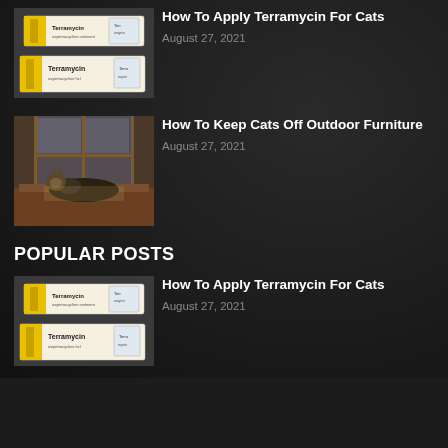[Figure (photo): Terramycin ointment product boxes stacked, yellow and white packaging]
How To Apply Terramycin For Cats
August 27, 2021
[Figure (photo): Cat lying on outdoor furniture near a window]
How To Keep Cats Off Outdoor Furniture
August 27, 2021
POPULAR POSTS
[Figure (photo): Terramycin ointment product boxes stacked, yellow and white packaging]
How To Apply Terramycin For Cats
August 27, 2021
[Figure (other): Pure Earth advertisement banner: 'We believe the global pollution crisis can be solved.' with Pure Earth logo]